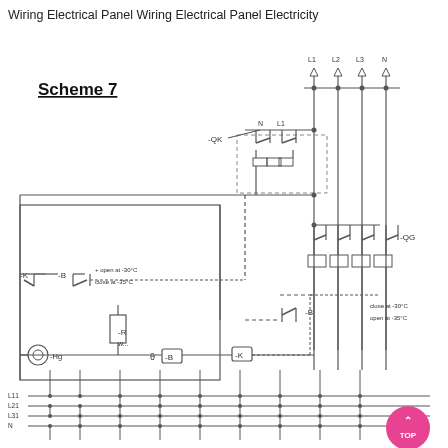Wiring Electrical Panel Wiring Electrical Panel Electricity
[Figure (circuit-diagram): Electrical wiring schematic labeled 'Scheme 7' showing a control circuit with components including circuit breaker -QK, contactor -QG, thermostats -B (open at -30°C close at -35°C and close at -30°C open at -35°C), relay -K, resistor -R, thermostat element w..., motor -Hg, and bus bars L1, L2, L3, N at bottom with connection points.]